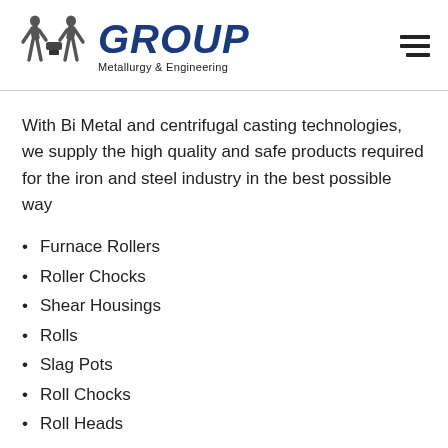[Figure (logo): Two metalworker figures silhouette logo with GROUP Metallurgy & Engineering text]
With Bi Metal and centrifugal casting technologies, we supply the high quality and safe products required for the iron and steel industry in the best possible way
Furnace Rollers
Roller Chocks
Shear Housings
Rolls
Slag Pots
Roll Chocks
Roll Heads